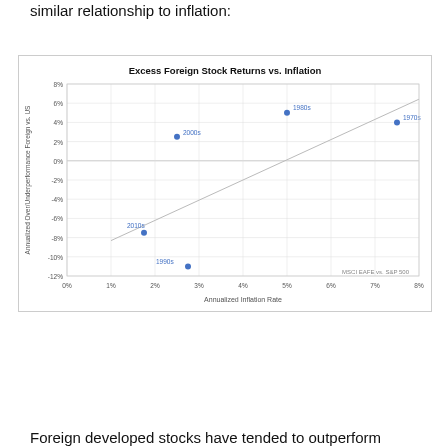similar relationship to inflation:
[Figure (scatter-plot): Scatter plot of Excess Foreign Stock Returns vs. Inflation with labeled decade points and trend line. MSCI EAFE vs. S&P 500.]
Foreign developed stocks have tended to outperform